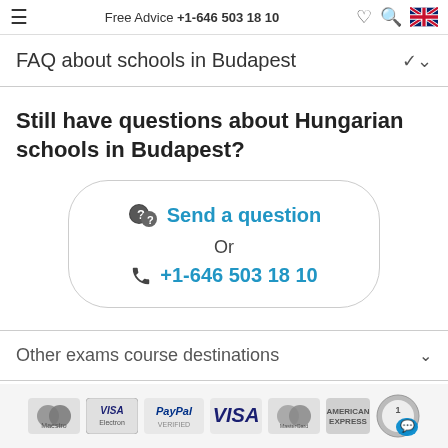Free Advice +1-646 503 18 10
FAQ about schools in Budapest
Still have questions about Hungarian schools in Budapest?
Send a question
Or
+1-646 503 18 10
Other exams course destinations
[Figure (logo): Payment logos: Maestro, Visa Electron, PayPal Verified, VISA, MasterCard, American Express, award badge with chat icon]